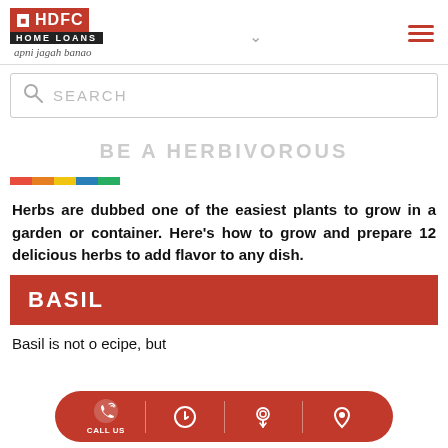HDFC HOME LOANS — apni jagah banao
SEARCH
BE A HERBIVOROUS
Herbs are dubbed one of the easiest plants to grow in a garden or container. Here's how to grow and prepare 12 delicious herbs to add flavor to any dish.
BASIL
Basil is not only a key ingredient in nearly every recipe, but